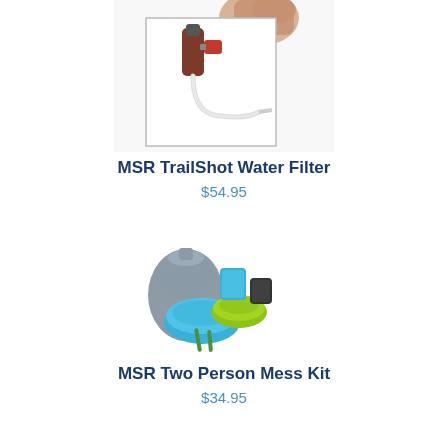[Figure (photo): MSR TrailShot Water Filter product photo showing a hand squeezing a water filter device with a tube, displayed with a white border box]
MSR TrailShot Water Filter
$54.95
[Figure (photo): MSR Two Person Mess Kit product photo showing colorful camping cookware including plates, cups, and utensils in blue and green]
MSR Two Person Mess Kit
$34.95